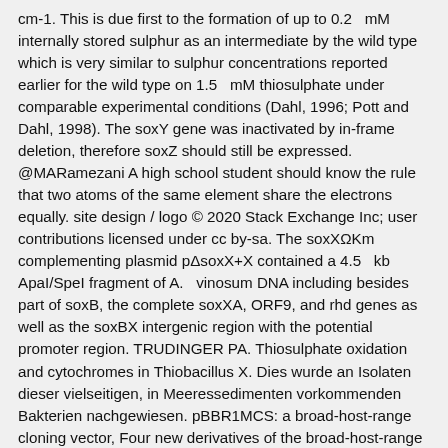cm-1. This is due first to the formation of up to 0.2 mM internally stored sulphur as an intermediate by the wild type which is very similar to sulphur concentrations reported earlier for the wild type on 1.5 mM thiosulphate under comparable experimental conditions (Dahl, 1996; Pott and Dahl, 1998). The soxY gene was inactivated by in-frame deletion, therefore soxZ should still be expressed. @MARamezani A high school student should know the rule that two atoms of the same element share the electrons equally. site design / logo © 2020 Stack Exchange Inc; user contributions licensed under cc by-sa. The soxXΩKm complementing plasmid pΔsoxX+X contained a 4.5 kb ApaI/SpeI fragment of A. vinosum DNA including besides part of soxB, the complete soxXA, ORF9, and rhd genes as well as the soxBX intergenic region with the potential promoter region. TRUDINGER PA. Thiosulphate oxidation and cytochromes in Thiobacillus X. Dies wurde an Isolaten dieser vielseitigen, in Meeressedimenten vorkommenden Bakterien nachgewiesen. pBBR1MCS: a broad-host-range cloning vector, Four new derivatives of the broad-host-range cloning vector pBBR1MCS, carrying different antibiotic-resistance cassettes, The oxidation mechanisms of thiosulphate and sulphide in Chloropseudomonas of